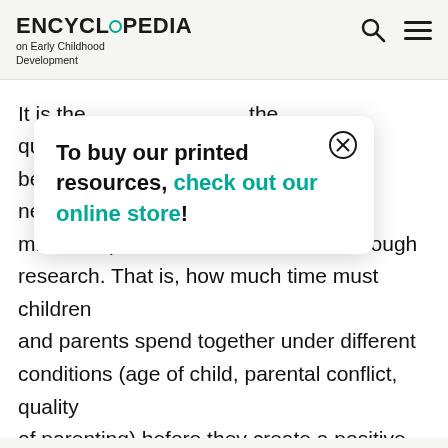ENCYCLOPEDIA on Early Childhood Development
It is the quality of time and not quantity that determines the closeness between ... ity is needed ... the minimum point has not been found through research. That is, how much time must children and parents spend together under different conditions (age of child, parental conflict, quality of parenting) before they create a positive connection that can withstand distance and lost chances to know each other on a daily basis. Similarly, although coparenting has been shown to be beneficial to children in general, individual and family dynamics always matter, as individual
To buy our printed resources, check out our online store!